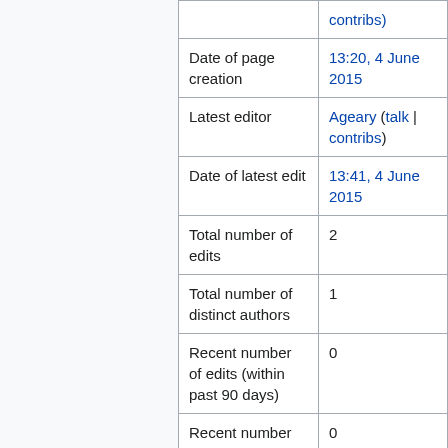| Property | Value |
| --- | --- |
|  | contribs) |
| Date of page creation | 13:20, 4 June 2015 |
| Latest editor | Ageary (talk | contribs) |
| Date of latest edit | 13:41, 4 June 2015 |
| Total number of edits | 2 |
| Total number of distinct authors | 1 |
| Recent number of edits (within past 90 days) | 0 |
| Recent number of distinct authors | 0 |
Page properties
|  |